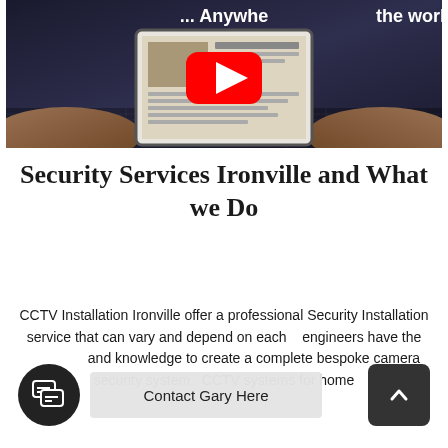[Figure (screenshot): YouTube video thumbnail showing hands holding a tablet with text '... Anywhere the world' and YouTube play button overlay]
Security Services Ironville and What we Do
CCTV Installation Ironville offer a professional Security Installation service that can vary and depend on each individual customer, our engineers have the skills and knowledge to create a complete bespoke camera security system. CCTV systems for home